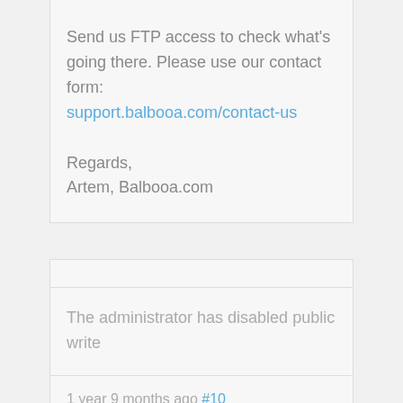Send us FTP access to check what's going there. Please use our contact form: support.balbooa.com/contact-us
Regards,
Artem, Balbooa.com
The administrator has disabled public write access.
1 year 9 months ago #10